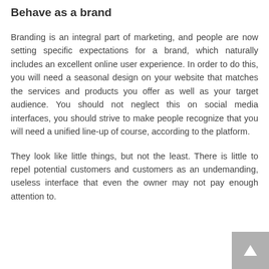Behave as a brand
Branding is an integral part of marketing, and people are now setting specific expectations for a brand, which naturally includes an excellent online user experience. In order to do this, you will need a seasonal design on your website that matches the services and products you offer as well as your target audience. You should not neglect this on social media interfaces, you should strive to make people recognize that you will need a unified line-up of course, according to the platform.
They look like little things, but not the least. There is little to repel potential customers and customers as an undemanding, useless interface that even the owner may not pay enough attention to.